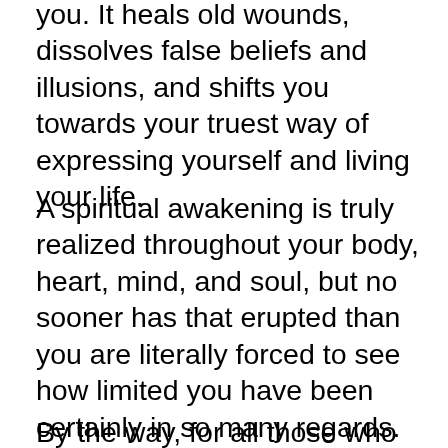you. It heals old wounds, dissolves false beliefs and illusions, and shifts you towards your truest way of expressing yourself and living your life.
A spiritual awakening is truly realized throughout your body, heart, mind, and soul, but no sooner has that erupted than you are literally forced to see how limited you have been certainly in so many regards. That bright light shining in the interior most depths of us asks us a potent question: “Now that we know the truth, will we clean up our home or will we try to ignore our illusions, pain, and misconceptions?”
By the way, for all those who are normally